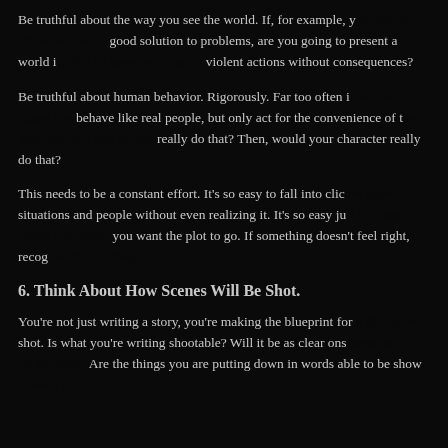Be truthful about the way you see the world. If, for example, you believe violence is not a good solution to problems, are you going to present a world in which characters commit violent actions without consequences?
Be truthful about human behavior. Rigorously. Far too often in stories characters behave like real people, but only act for the convenience of the plot. Would a real person really do that? Then, would your character really do that?
This needs to be a constant effort. It’s so easy to fall into clichés about situations and people without even realizing it. It’s so easy just to move characters where you want the plot to go. If something doesn’t feel right, recognize that feeling.
6. Think About How Scenes Will Be Shot.
You’re not just writing a story, you’re making the blueprint for a film to be shot. Is what you’re writing shootable? Will it be as clear onscreen as it is on the page? Are the things you are putting down in words able to be shown visually?